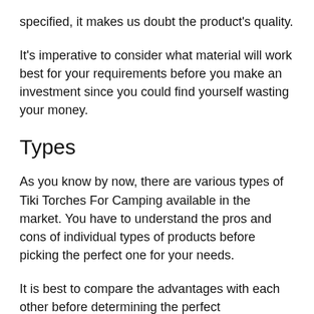specified, it makes us doubt the product's quality.
It's imperative to consider what material will work best for your requirements before you make an investment since you could find yourself wasting your money.
Types
As you know by now, there are various types of Tiki Torches For Camping available in the market. You have to understand the pros and cons of individual types of products before picking the perfect one for your needs.
It is best to compare the advantages with each other before determining the perfect